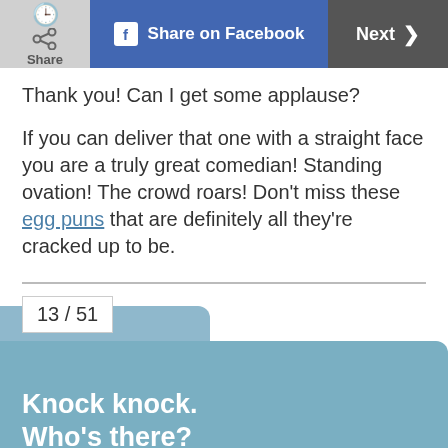Share | Share on Facebook | Next >
Thank you! Can I get some applause?
If you can deliver that one with a straight face you are a truly great comedian! Standing ovation! The crowd roars! Don't miss these egg puns that are definitely all they're cracked up to be.
13 / 51
Knock knock.
Who's there?